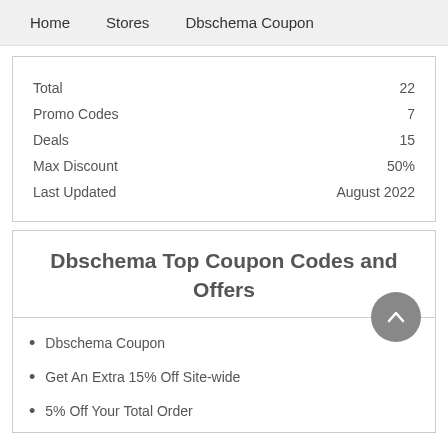Home   Stores   Dbschema Coupon
|  |  |
| --- | --- |
| Total | 22 |
| Promo Codes | 7 |
| Deals | 15 |
| Max Discount | 50% |
| Last Updated | August 2022 |
Dbschema Top Coupon Codes and Offers
Dbschema Coupon
Get An Extra 15% Off Site-wide
5% Off Your Total Order